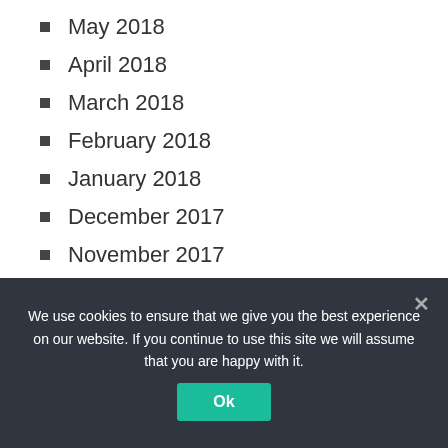May 2018
April 2018
March 2018
February 2018
January 2018
December 2017
November 2017
October 2017
September 2017
August 2017
July 2017
June 2017
We use cookies to ensure that we give you the best experience on our website. If you continue to use this site we will assume that you are happy with it.